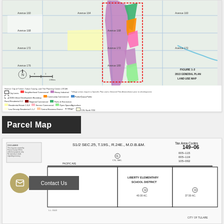[Figure (map): 2013 General Plan Land Use Map for Tulare, Tulare County. Colored zoning map showing city limits, urban development boundary, and various land use designations including residential, commercial, industrial, parks, and open space. Source: City of Tulare, Tulare County, and The Planning Center | DC&E. Figure 1-2.]
Source: City of Tulare, Tulare County, and The Planning Center | DC&E. Legend includes: City Limits, 2035 Urban Development Boundary, Rural Residential 0.2, Residential Estate 1.0-3, Low Density Residential 1.1-7, Medium Density Residential 7.1-14, High Density Residential 14.1-29, Neighborhood Commercial, Community Commercial, Regional Commercial, Service Commercial, Central Business District, Office Commercial, Light Industrial, Heavy Industrial, Public/Quasi-Public, Parks & Recreation, Open Space/Agriculture, Village*, COL North TOD, TOD-Overlay. FIGURE 1-2 2013 GENERAL PLAN LAND USE MAP
Parcel Map
[Figure (map): Parcel map showing S1/2 SEC.25, T.19S., R.24E., M.D.B.&M. Tax Area Codes: 149-06, showing parcels 005-115, 005-119, 105-002. Map includes Liberty Elementary School District parcel and City of Tulare parcels with acreage noted.]